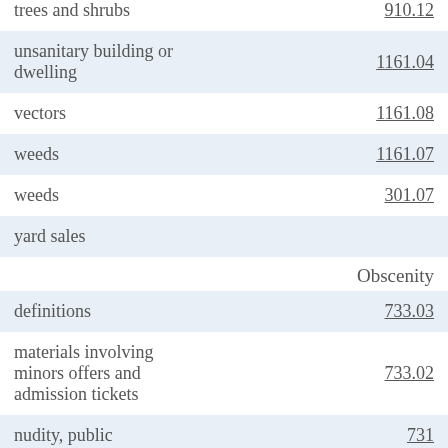| Topic | Section |
| --- | --- |
| trees and shrubs | 910.12 |
| unsanitary building or dwelling | 1161.04 |
| vectors | 1161.08 |
| weeds | 1161.07 |
| weeds | 301.07 |
| yard sales |  |
| Obscenity |  |
| definitions | 733.03 |
| materials involving minors offers and admission tickets | 733.02 |
| nudity, public | 731 |
| penalty | 733.99 |